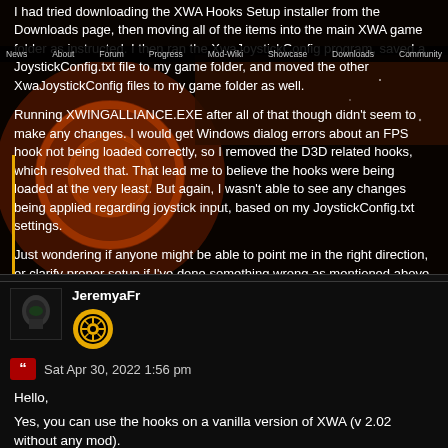I had tried downloading the XWA Hooks Setup installer from the Downloads page, then moving all of the items into the main XWA game folder as instructed. I then ran the XwaJoystickConfig program, saved a JoystickConfig.txt file to my game folder, and moved the other XwaJoystickConfig files to my game folder as well.
News  About  Forum  Progress  Mod-Wiki  Showcase  Downloads  Community
Running XWINGALLIANCE.EXE after all of that though didn't seem to make any changes. I would get Windows dialog errors about an FPS hook not being loaded correctly, so I removed the D3D related hooks, which resolved that. That lead me to believe the hooks were being loaded at the very least. But again, I wasn't able to see any changes being applied regarding joystick input, based on my JoystickConfig.txt settings.
Just wondering if anyone might be able to point me in the right direction, or clarify proper setup if I've done something wrong as mentioned above. Thanks!
JeremyaFr
Sat Apr 30, 2022 1:56 pm
Hello,
Yes, you can use the hooks on a vanilla version of XWA (v 2.02 without any mod).
The Hooks' Wiki page hasn't been updated for a while. XwaJoysticSetup...